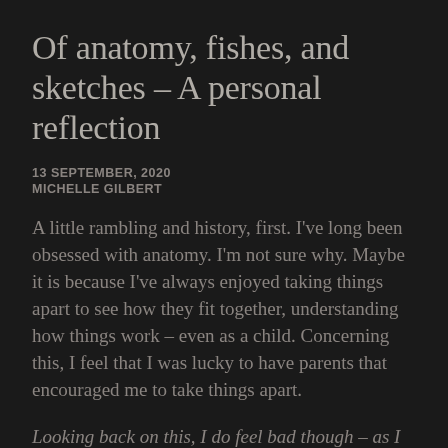Of anatomy, fishes, and sketches – A personal reflection
13 SEPTEMBER, 2020
MICHELLE GILBERT
A little rambling and history, first. I've long been obsessed with anatomy. I'm not sure why. Maybe it is because I've always enjoyed taking things apart to see how they fit together, understanding how things work – even as a child. Concerning this, I feel that I was lucky to have parents that encouraged me to take things apart.
Looking back on this, I do feel bad though – as I would often take something apart and then not quite be able to